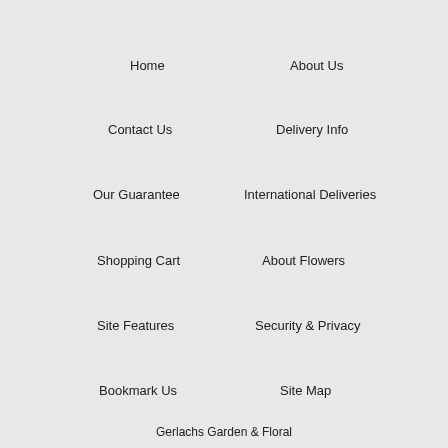Home
About Us
Contact Us
Delivery Info
Our Guarantee
International Deliveries
Shopping Cart
About Flowers
Site Features
Security & Privacy
Bookmark Us
Site Map
Gerlachs Garden & Floral